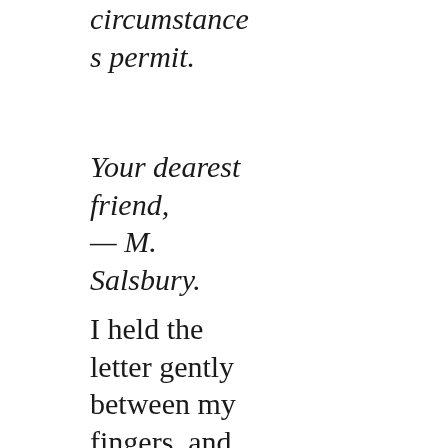circumstances permit.
Your dearest friend,
— M. Salsbury.
I held the letter gently between my fingers, and no doubt I smiled as I read Marlow's